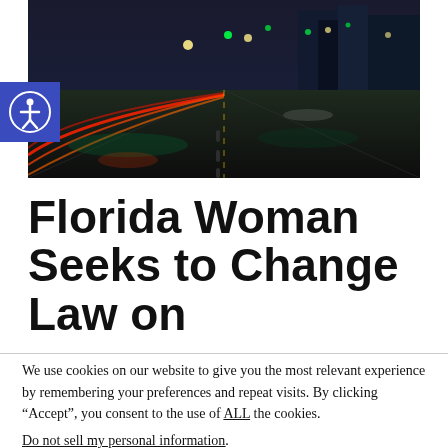[Figure (photo): Nighttime city street with light trails from traffic, wet road reflecting lights, urban intersection scene]
Florida Woman Seeks to Change Law on
We use cookies on our website to give you the most relevant experience by remembering your preferences and repeat visits. By clicking “Accept”, you consent to the use of ALL the cookies.
Do not sell my personal information.
Cookie Settings  Accept